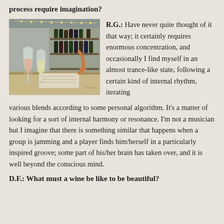process require imagination?
[Figure (photo): Photo of wine glasses on a bar counter with wine bottles in the background and string lights overhead]
R.G.: Have never quite thought of it that way; it certainly requires enormous concentration, and occasionally I find myself in an almost trance-like state, following a certain kind of internal rhythm, iterating various blends according to some personal algorithm.  It's a matter of looking for a sort of internal harmony or resonance.  I'm not a musician but I imagine that there is something similar that happens when a group is jamming and a player finds him/herself in a particularly inspired groove; some part of his/her brain has taken over, and it is well beyond the conscious mind.
D.F.: What must a wine be like to be beautiful?